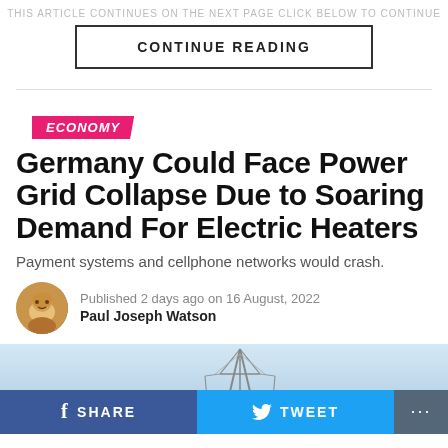CONTINUE READING
ECONOMY
Germany Could Face Power Grid Collapse Due to Soaring Demand For Electric Heaters
Payment systems and cellphone networks would crash.
Published 2 days ago on 16 August, 2022
Paul Joseph Watson
[Figure (photo): Power transmission tower/pylon against a light blue sky]
SHARE   TWEET   ...